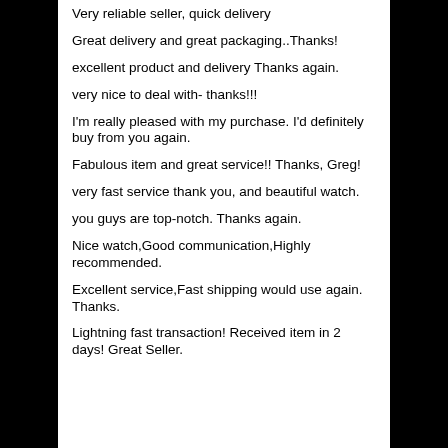Very reliable seller, quick delivery
Great delivery and great packaging..Thanks!
excellent product and delivery Thanks again.
very nice to deal with- thanks!!!
I'm really pleased with my purchase. I'd definitely buy from you again.
Fabulous item and great service!! Thanks, Greg!
very fast service thank you, and beautiful watch.
you guys are top-notch. Thanks again.
Nice watch,Good communication,Highly recommended.
Excellent service,Fast shipping would use again. Thanks.
Lightning fast transaction! Received item in 2 days! Great Seller.